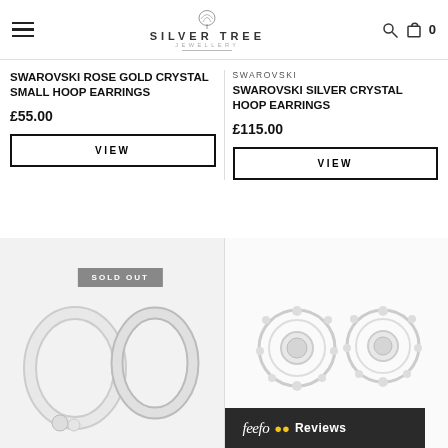Silver Tree Jewellery - navigation header with hamburger menu, logo, search and cart icons
SWAROVSKI ROSE GOLD CRYSTAL SMALL HOOP EARRINGS
£55.00
SWAROVSKI
SWAROVSKI SILVER CRYSTAL HOOP EARRINGS
£115.00
[Figure (screenshot): VIEW button for Swarovski Rose Gold Crystal Small Hoop Earrings]
[Figure (screenshot): VIEW button for Swarovski Silver Crystal Hoop Earrings]
[Figure (photo): Silver hoop earrings product photo with SOLD OUT badge]
[Figure (photo): Silver crystal hoop stud earrings product photo]
feefo Reviews